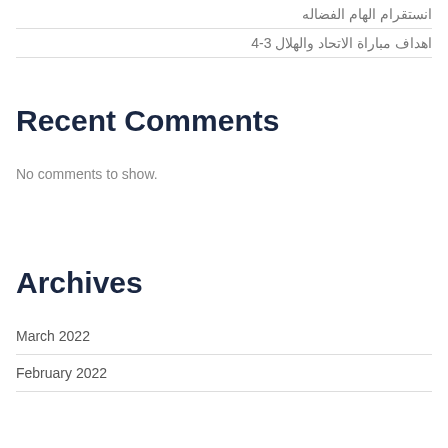انستقرام الهام الفضاله
اهداف مباراة الاتحاد والهلال 3-4
Recent Comments
No comments to show.
Archives
March 2022
February 2022